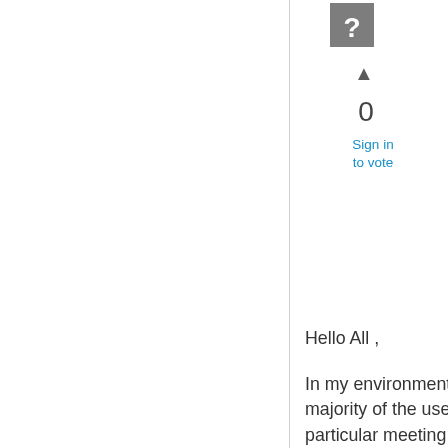[Figure (other): Question mark icon in a grey square]
▲
0
Sign in
to vote
Hello All ,
In my environment i am facing an issue where majority of the users was not able to forward the particular meeting invite as as icalendar .When they try to perform that action the following error messages will happen in the both online and offline mode.
Exchange Version : Exchange 2013 CU18
Error message when outlook running in online mode : There is